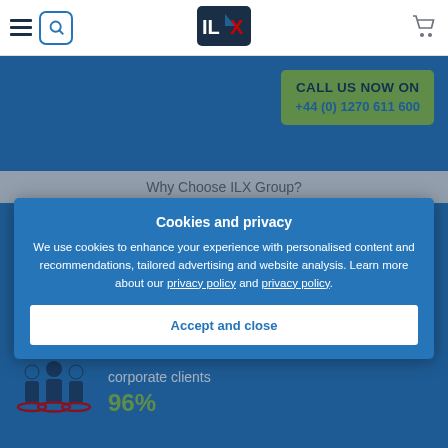[Figure (screenshot): ILX Group website screenshot with navigation bar, call-to-action banner, cookie consent modal, and partial page content]
Cookies and privacy
We use cookies to enhance your experience with personalised content and recommendations, tailored advertising and website analysis. Learn more about our privacy policy and privacy policy.
Accept and close
corporate clients
96%